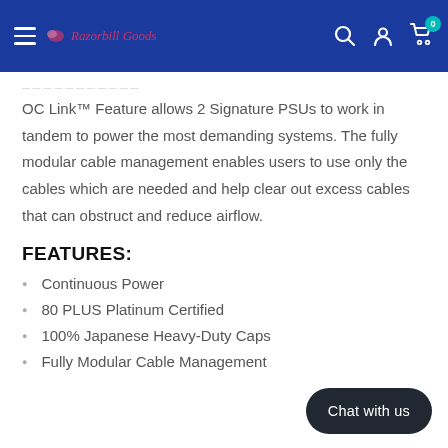Razorbill Goods
OC Link™ Feature allows 2 Signature PSUs to work in tandem to power the most demanding systems. The fully modular cable management enables users to use only the cables which are needed and help clear out excess cables that can obstruct and reduce airflow.
FEATURES:
Continuous Power
80 PLUS Platinum Certified
100% Japanese Heavy-Duty Caps
Fully Modular Cable Management